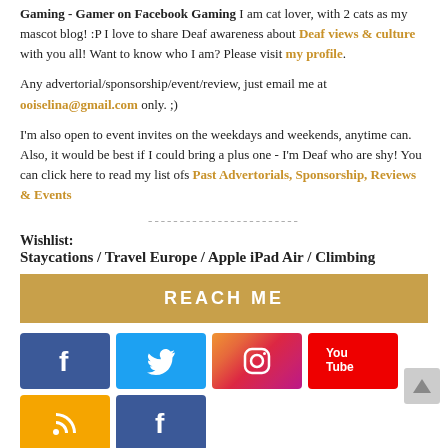Gaming - Gamer on Facebook Gaming I am cat lover, with 2 cats as my mascot blog! :P I love to share Deaf awareness about Deaf views & culture with you all! Want to know who I am? Please visit my profile.
Any advertorial/sponsorship/event/review, just email me at ooiselina@gmail.com only. ;)
I'm also open to event invites on the weekdays and weekends, anytime can. Also, it would be best if I could bring a plus one - I'm Deaf who are shy! You can click here to read my list ofs Past Advertorials, Sponsorship, Reviews & Events
------------------------
Wishlist:
Staycations / Travel Europe / Apple iPad Air / Climbing
REACH ME
[Figure (infographic): Social media buttons: Facebook (dark blue), Twitter (light blue), Instagram (gradient), YouTube (red), RSS (orange/yellow), Facebook (dark blue)]